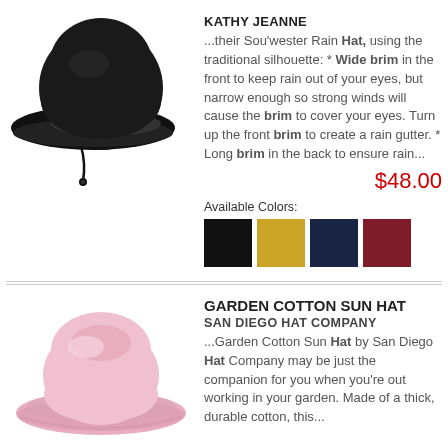[Figure (photo): Black Sou'wester rain hat with wide front brim and drawstring]
KATHY JEANNE
...their Sou'wester Rain Hat, using the traditional silhouette: * Wide brim in the front to keep rain out of your eyes, but narrow enough so strong winds will cause the brim to cover your eyes. Turn up the front brim to create a rain gutter. * Long brim in the back to ensure rain...
$48.00
Available Colors:
[Figure (illustration): Four color swatches: black, mustard yellow, navy blue, dark red/maroon]
[Figure (photo): Pink garden cotton sun hat with wide brim]
GARDEN COTTON SUN HAT
SAN DIEGO HAT COMPANY
...Garden Cotton Sun Hat by San Diego Hat Company may be just the companion for you when you're out working in your garden. Made of a thick, durable cotton, this...